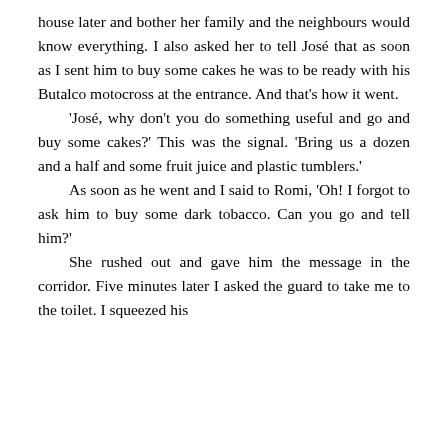house later and bother her family and the neighbours would know everything. I also asked her to tell José that as soon as I sent him to buy some cakes he was to be ready with his Butalco motocross at the entrance. And that's how it went.
	'José, why don't you do something useful and go and buy some cakes?' This was the signal. 'Bring us a dozen and a half and some fruit juice and plastic tumblers.'
	As soon as he went and I said to Romi, 'Oh! I forgot to ask him to buy some dark tobacco. Can you go and tell him?'
	She rushed out and gave him the message in the corridor. Five minutes later I asked the guard to take me to the toilet. I squeezed his